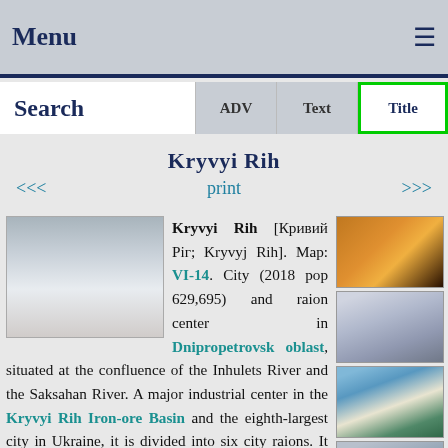Menu
Search | ADV | Text | Title
Kryvyi Rih
<<< print >>>
Kryvyi Rih [Кривий Ріг; Kryvyj Rih]. Map: VI-14. City (2018 pop 629,695) and raion center in Dnipropetrovsk oblast, situated at the confluence of the Inhulets River and the Saksahan River. A major industrial center in the Kryvyi Rih Iron-ore Basin and the eighth-largest city in Ukraine, it is divided into six city raions. It arose in the 17th century as a
[Figure (photo): Thumbnail photo of Kryvyi Rih - image 1 (orange/nighttime city scene)]
[Figure (photo): Thumbnail photo of Kryvyi Rih - image 2 (white building)]
[Figure (photo): Thumbnail photo of Kryvyi Rih - image 3 (church with blue sky)]
[Figure (photo): Thumbnail photo of Kryvyi Rih - image 4 (church exterior)]
[Figure (photo): Entry main thumbnail image (landscape/sky)]